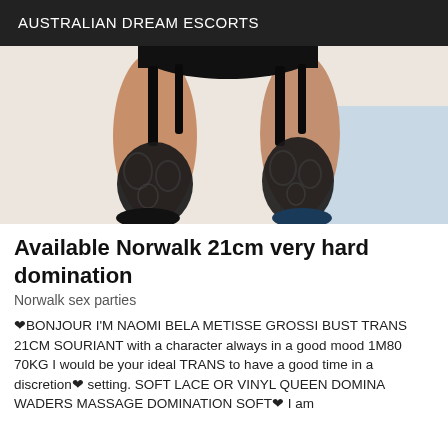AUSTRALIAN DREAM ESCORTS
[Figure (photo): Cropped photo showing legs wearing black lace stockings and black lingerie/garter belt against a light background]
Available Norwalk 21cm very hard domination
Norwalk sex parties
❤BONJOUR I'M NAOMI BELA METISSE GROSSI BUST TRANS 21CM SOURIANT with a character always in a good mood 1M80 70KG I would be your ideal TRANS to have a good time in a discretion❤ setting. SOFT LACE OR VINYL QUEEN DOMINA WADERS MASSAGE DOMINATION SOFT❤ I am